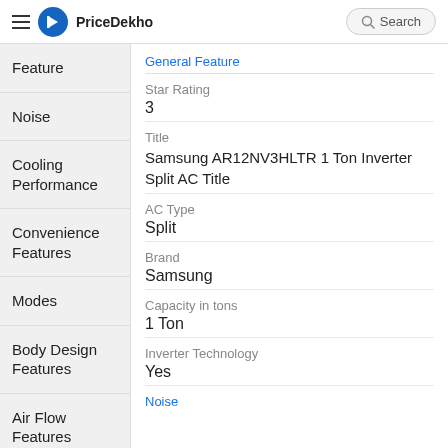PriceDekho — Search
General Feature
Feature
Noise
Cooling Performance
Convenience Features
Modes
Body Design Features
Air Flow Features
Star Rating
3
Title
Samsung AR12NV3HLTR 1 Ton Inverter Split AC Title
AC Type
Split
Brand
Samsung
Capacity in tons
1 Ton
Inverter Technology
Yes
Noise